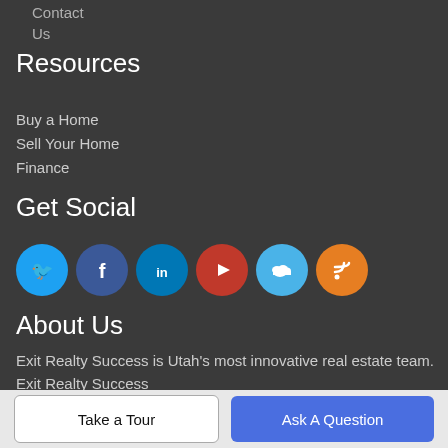Contact Us
Resources
Buy a Home
Sell Your Home
Finance
Get Social
[Figure (illustration): Social media icons: Twitter, Facebook, LinkedIn, YouTube, Cloud, RSS]
About Us
Exit Realty Success is Utah's most innovative real estate team.
Exit Realty Success
1231 West 9000 South, Ste E, West Jordan, UT 84088
Take a Tour
Ask A Question